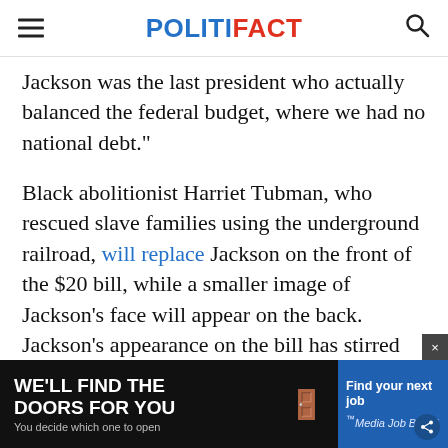POLITIFACT
Jackson was the last president who actually balanced the federal budget, where we had no national debt."
Black abolitionist Harriet Tubman, who rescued slave families using the underground railroad, will replace Jackson on the front of the $20 bill, while a smaller image of Jackson’s face will appear on the back. Jackson’s appearance on the bill has stirred up controversy as of late, especially because Jackson… over the…
[Figure (screenshot): Advertisement overlay at bottom: 'WE'LL FIND THE DOORS FOR YOU / You decide which one to open' on dark background left side; 'Find your next job / Media Job Board' on blue background right side.]